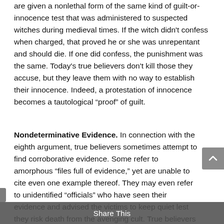are given a nonlethal form of the same kind of guilt-or-innocence test that was administered to suspected witches during medieval times. If the witch didn't confess when charged, that proved he or she was unrepentant and should die. If one did confess, the punishment was the same. Today's true believers don't kill those they accuse, but they leave them with no way to establish their innocence. Indeed, a protestation of innocence becomes a tautological “proof” of guilt.
Nondeterminative Evidence. In connection with the eighth argument, true believers sometimes attempt to find corroborative evidence. Some refer to amorphous “files full of evidence,” yet are unable to cite even one example thereof. They may even refer to unidentified “officials” who have seen their evidence and advised the victims to keep quiet lest they risk death from the avenging cult. True believers sometimes cite ambiguous or nondeterminative evidence. For example, in a telephone interview, Dr. James Friesen, a Christian therapist and author of the popular Uncovering the Mystery of MPD, told us he had